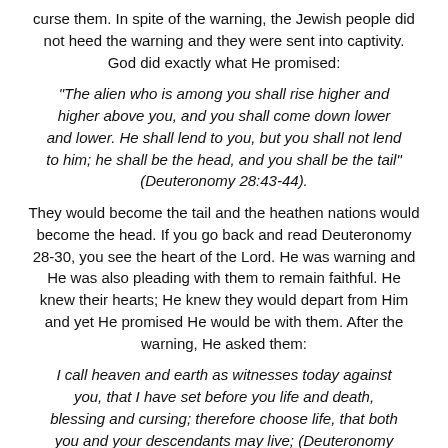curse them. In spite of the warning, the Jewish people did not heed the warning and they were sent into captivity. God did exactly what He promised:
“The alien who is among you shall rise higher and higher above you, and you shall come down lower and lower. He shall lend to you, but you shall not lend to him; he shall be the head, and you shall be the tail” (Deuteronomy 28:43-44).
They would become the tail and the heathen nations would become the head. If you go back and read Deuteronomy 28-30, you see the heart of the Lord. He was warning and He was also pleading with them to remain faithful. He knew their hearts; He knew they would depart from Him and yet He promised He would be with them. After the warning, He asked them:
I call heaven and earth as witnesses today against you, that I have set before you life and death, blessing and cursing; therefore choose life, that both you and your descendants may live; (Deuteronomy 30:19).